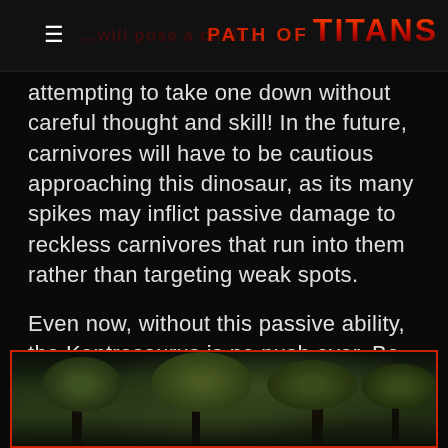PATH OF TITANS
attempting to take one down without careful thought and skill! In the future, carnivores will have to be cautious approaching this dinosaur, as its many spikes may inflict passive damage to reckless carnivores that run into them rather than targeting weak spots.
Even now, without this passive ability, the Kentrosaurus is no push over. Be sure to update your game and check out this new playable dinosaur for yourself!
[Figure (photo): Forest scene with trees and foliage, appears to be an in-game screenshot from Path of Titans showing a forested environment]